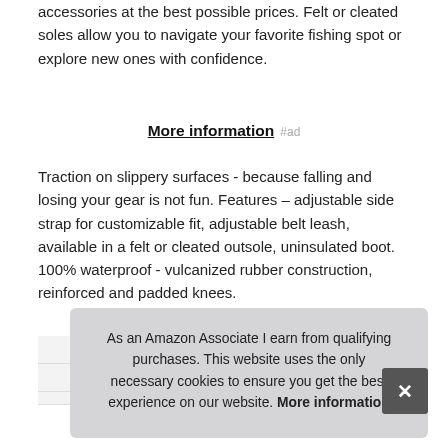accessories at the best possible prices. Felt or cleated soles allow you to navigate your favorite fishing spot or explore new ones with confidence.
More information #ad
Traction on slippery surfaces - because falling and losing your gear is not fun. Features – adjustable side strap for customizable fit, adjustable belt leash, available in a felt or cleated outsole, uninsulated boot. 100% waterproof - vulcanized rubber construction, reinforced and padded knees.
| Brand |  |
| --- | --- |
| Brand | FROGG TOGGS |
| Ma |  |
As an Amazon Associate I earn from qualifying purchases. This website uses the only necessary cookies to ensure you get the best experience on our website. More information